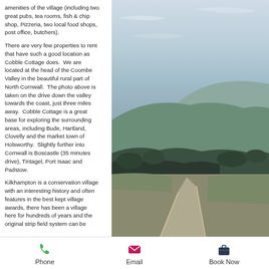amenities of the village (including two great pubs, tea rooms, fish & chip shop, Pizzeria, two local food shops, post office, butchers).
There are very few properties to rent that have such a good location as Cobble Cottage does. We are located at the head of the Coombe Valley in the beautiful rural part of North Cornwall. The photo above is taken on the drive down the valley towards the coast, just three miles away. Cobble Cottage is a great base for exploring the surrounding areas, including Bude, Hartland, Clovelly and the market town of Holsworthy. Slightly further into Cornwall is Boscastle (35 minutes drive), Tintagel, Port Isaac and Padstow.
Kilkhampton is a conservation village with an interesting history and often features in the best kept village awards, there has been a village here for hundreds of years and the original strip field system can be
[Figure (photo): Landscape photo of the Coombe Valley showing rolling hills, trees and a road winding down towards the coast in rural North Cornwall.]
Phone   Email   Book Now